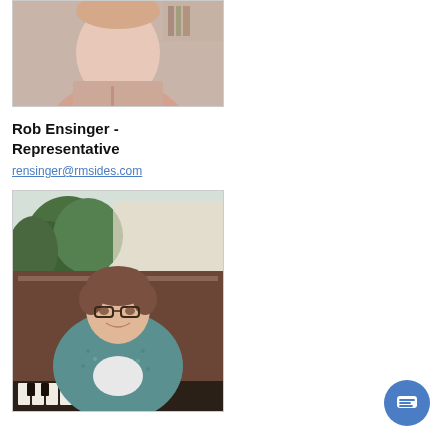[Figure (photo): Headshot of a man in a pink collared shirt, partially cropped at top]
Rob Ensinger - Representative
rensinger@rmsides.com
[Figure (photo): Woman with glasses wearing a teal/green patterned top, seated in front of a piano with plants in the background, smiling at camera]